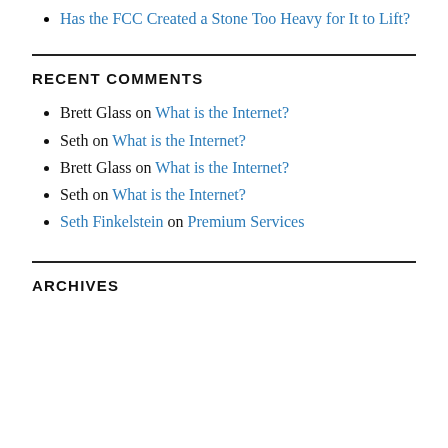Has the FCC Created a Stone Too Heavy for It to Lift?
RECENT COMMENTS
Brett Glass on What is the Internet?
Seth on What is the Internet?
Brett Glass on What is the Internet?
Seth on What is the Internet?
Seth Finkelstein on Premium Services
ARCHIVES